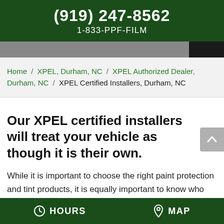(919) 247-8562
1-833-PPF-FILM
Home / XPEL, Durham, NC / XPEL Authorized Dealer, Durham, NC / XPEL Certified Installers, Durham, NC
Our XPEL certified installers will treat your vehicle as though it is their own.
While it is important to choose the right paint protection and tint products, it is equally important to know who you are trusting to
HOURS   MAP